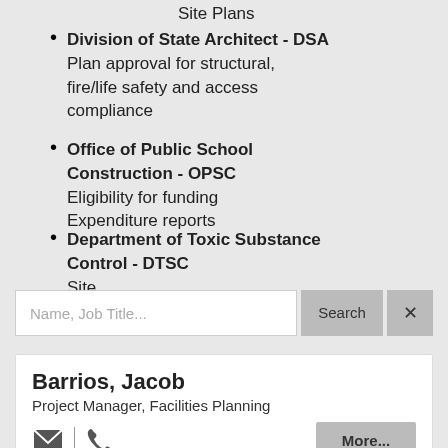Site Plans
Division of State Architect - DSA
Plan approval for structural, fire/life safety and access compliance
Office of Public School Construction - OPSC
Eligibility for funding
Expenditure reports
Department of Toxic Substance Control - DTSC
Site
Name, Job Title...
Search
×
Barrios, Jacob
Project Manager, Facilities Planning
More...